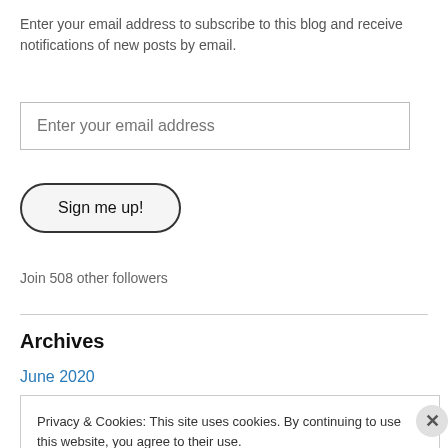Enter your email address to subscribe to this blog and receive notifications of new posts by email.
[Figure (other): Email input field with placeholder text 'Enter your email address']
[Figure (other): Sign me up! button with rounded border]
Join 508 other followers
Archives
June 2020
Privacy & Cookies: This site uses cookies. By continuing to use this website, you agree to their use. To find out more, including how to control cookies, see here: Cookie Policy
Close and accept